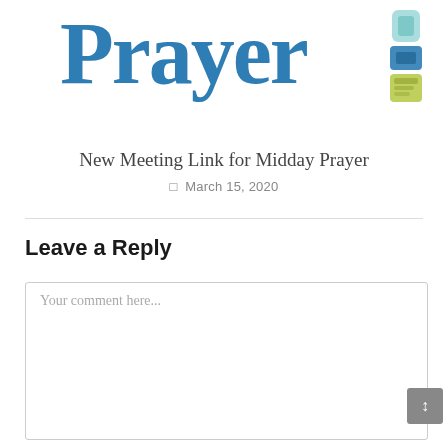[Figure (logo): Large blue serif text reading 'Prayer' with a colorful stacked graphic element on the right side (teal, blue, green vertical bars/pills)]
New Meeting Link for Midday Prayer
March 15, 2020
Leave a Reply
Your comment here...